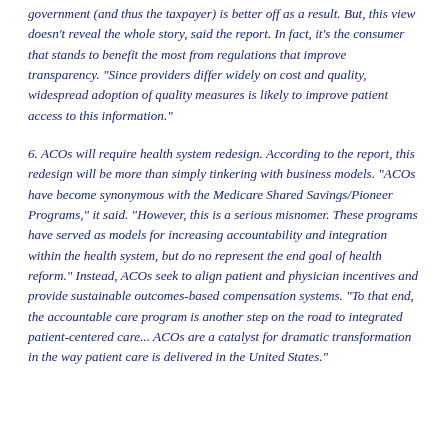government (and thus the taxpayer) is better off as a result. But, this view doesn't reveal the whole story, said the report. In fact, it's the consumer that stands to benefit the most from regulations that improve transparency. "Since providers differ widely on cost and quality, widespread adoption of quality measures is likely to improve patient access to this information."
6. ACOs will require health system redesign. According to the report, this redesign will be more than simply tinkering with business models. "ACOs have become synonymous with the Medicare Shared Savings/Pioneer Programs," it said. "However, this is a serious misnomer. These programs have served as models for increasing accountability and integration within the health system, but do no represent the end goal of health reform." Instead, ACOs seek to align patient and physician incentives and provide sustainable outcomes-based compensation systems. "To that end, the accountable care program is another step on the road to integrated patient-centered care... ACOs are a catalyst for dramatic transformation in the way patient care is delivered in the United States."